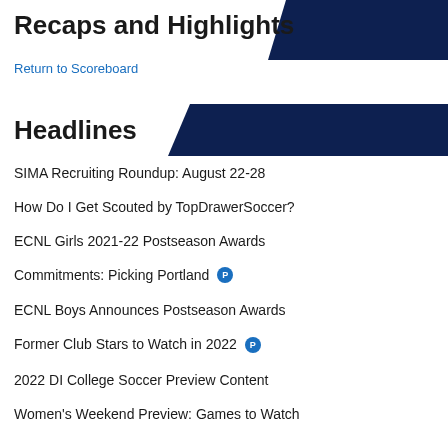Recaps and Highlights
Return to Scoreboard
Headlines
SIMA Recruiting Roundup: August 22-28
How Do I Get Scouted by TopDrawerSoccer?
ECNL Girls 2021-22 Postseason Awards
Commitments: Picking Portland [P]
ECNL Boys Announces Postseason Awards
Former Club Stars to Watch in 2022 [P]
2022 DI College Soccer Preview Content
Women's Weekend Preview: Games to Watch